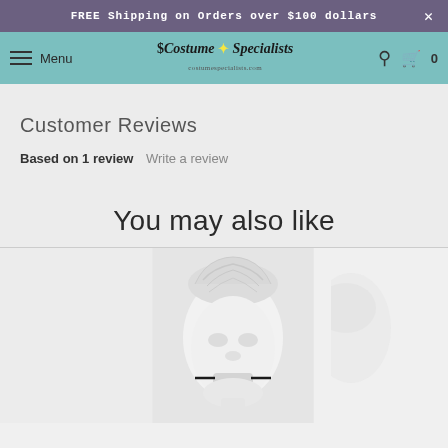FREE Shipping on Orders over $100 dollars
Menu | Costume Specialists | Search | Cart 0
Customer Reviews
Based on 1 review Write a review
You may also like
[Figure (photo): White face mask/costume head covering worn by a person, shown from the neck up against a light background]
[Figure (photo): Partial view of another costume product on the right side, light colored]